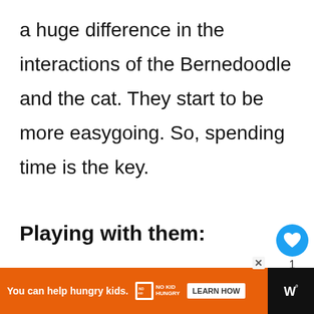a huge difference in the interactions of the Bernedoodle and the cat. They start to be more easygoing. So, spending time is the key.
Playing with them:
You can try to engage both the dog and the cat in a fun activity like throwing balls th...
[Figure (screenshot): Like button (heart icon, blue circle) with count of 1, and share button below it]
[Figure (screenshot): What's Next panel showing a golden dog thumbnail and text '4 Month Old Goldendood...']
[Figure (screenshot): Advertisement banner: orange background, 'You can help hungry kids.' with No Kid Hungry logo and 'LEARN HOW' button. Close X button. Dark right panel with Wired logo.]